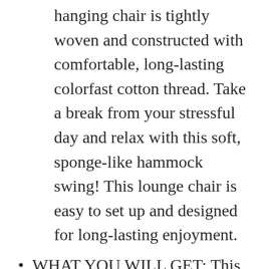hanging chair is tightly woven and constructed with comfortable, long-lasting colorfast cotton thread. Take a break from your stressful day and relax with this soft, sponge-like hammock swing! This lounge chair is easy to set up and designed for long-lasting enjoyment.
WHAT YOU WILL GET: This high-quality swing includes 1 adjustable strap, 1 S carabiner, and 1 steel spread bar. Anyone can install this stylish hammock chair for instant euphoria! ADVOKAIR